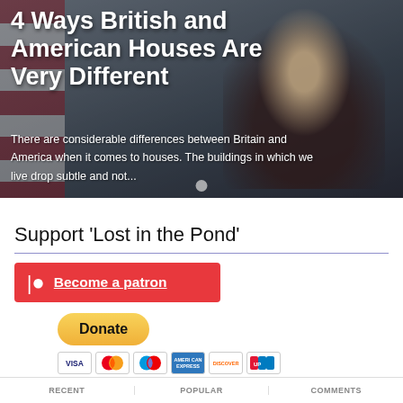[Figure (photo): Hero image of a smiling man with beard, overlaid with text title and subtitle. Background has American/British flag elements.]
4 Ways British and American Houses Are Very Different
There are considerable differences between Britain and America when it comes to houses. The buildings in which we live drop subtle and not...
Support 'Lost in the Pond'
[Figure (other): Patreon button - red button with Patreon logo icon and text 'Become a patron']
[Figure (other): PayPal Donate button (yellow rounded pill) with payment card icons below: Visa, Mastercard, Maestro, American Express, Discover, UnionPay]
RECENT   POPULAR   COMMENTS